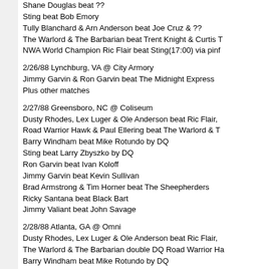Shane Douglas beat ??
Sting beat Bob Emory
Tully Blanchard & Arn Anderson beat Joe Cruz & ??
The Warlord & The Barbarian beat Trent Knight & Curtis T
NWA World Champion Ric Flair beat Sting(17:00) via pinf
2/26/88 Lynchburg, VA @ City Armory
Jimmy Garvin & Ron Garvin beat The Midnight Express
Plus other matches
2/27/88 Greensboro, NC @ Coliseum
Dusty Rhodes, Lex Luger & Ole Anderson beat Ric Flair,
Road Warrior Hawk & Paul Ellering beat The Warlord & T
Barry Windham beat Mike Rotundo by DQ
Sting beat Larry Zbyszko by DQ
Ron Garvin beat Ivan Koloff
Jimmy Garvin beat Kevin Sullivan
Brad Armstrong & Tim Horner beat The Sheepherders
Ricky Santana beat Black Bart
Jimmy Valiant beat John Savage
2/28/88 Atlanta, GA @ Omni
Dusty Rhodes, Lex Luger & Ole Anderson beat Ric Flair,
The Warlord & The Barbarian double DQ Road Warrior Ha
Barry Windham beat Mike Rotundo by DQ
Sting beat Larry Zbyszko by DQ
The Midnight Express beat Jimmy & Ron Garvin
Shaska Whatley & Tiger Conway, Jr. beat Kendall Windha
Rick Steiner beat Italian Stallion
Ricky Santana beat Black Bart
2/29/88 Washington, DC @ Armory
Jimmy Garvin & Ron Garvin beat The Midnight Express b
Plus other matches
2/29/88 Greenville, SC @ Memorial Auditorium
Shane Douglas beat The Terminator
Ron Simmons beat Gladiator #1